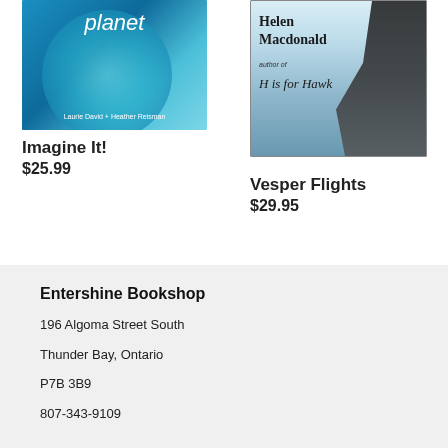[Figure (illustration): Book cover for 'Imagine It!' showing a blue/teal planet and the text 'planet', with authors Laurie David + Heather Reisman]
Imagine It!
$25.99
[Figure (illustration): Book cover for 'Vesper Flights' by Helen Macdonald, author of H is for Hawk, with a dark bird silhouette on a light background]
Vesper Flights
$29.95
Entershine Bookshop
196 Algoma Street South
Thunder Bay, Ontario
P7B 3B9
807-343-9109